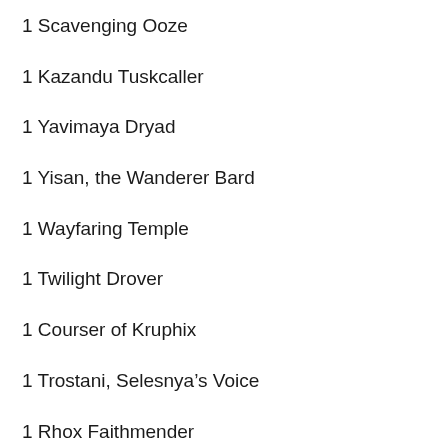1 Scavenging Ooze
1 Kazandu Tuskcaller
1 Yavimaya Dryad
1 Yisan, the Wanderer Bard
1 Wayfaring Temple
1 Twilight Drover
1 Courser of Kruphix
1 Trostani, Selesnya's Voice
1 Rhox Faithmender
1 ...